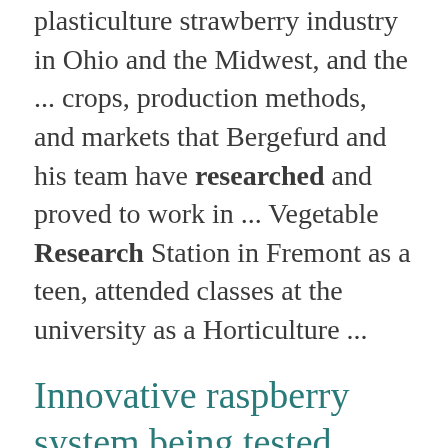... research and development of the plasticulture strawberry industry in Ohio and the Midwest, and the ... crops, production methods, and markets that Bergefurd and his team have researched and proved to work in ... Vegetable Research Station in Fremont as a teen, attended classes at the university as a Horticulture ...
Innovative raspberry system being tested
https://southcenters.osu.edu/spring-summer-2022/innovative-raspberry-system-being-tested
By Gary Gao, Professor and Extension